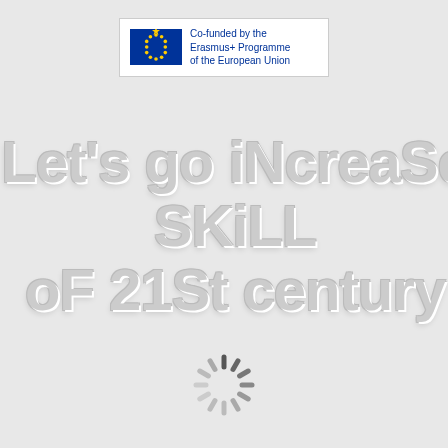[Figure (logo): EU Erasmus+ co-funded logo with European Union flag (blue background, yellow stars circle) and text 'Co-funded by the Erasmus+ Programme of the European Union']
Let's go iNcreaSe SKiLL of 21St century
[Figure (illustration): Loading spinner icon — dark grey radial lines radiating from center in a circular starburst/loading pattern]